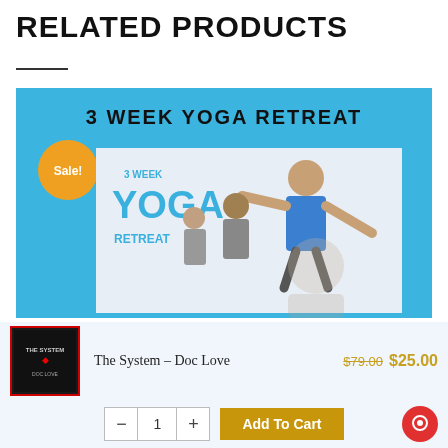RELATED PRODUCTS
[Figure (screenshot): 3 Week Yoga Retreat product image with a Sale! badge, showing a blue background with the text '3 WEEK YOGA RETREAT' and people doing yoga poses.]
The System – Doc Love
$79.00 $25.00
– 1 + Add To Cart